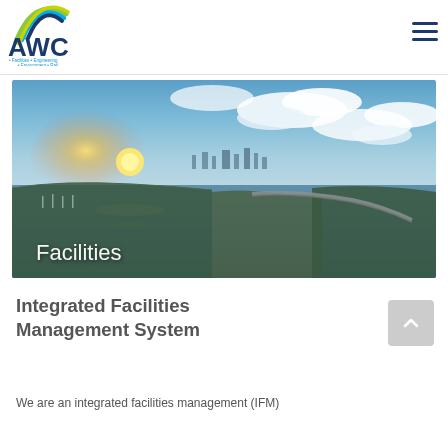[Figure (logo): AWC company logo with arc graphic above letters AWC, tagline: Facilities • Engineering • Environment • Rail]
[Figure (photo): Aerial panoramic photograph of a coastal city/port at sunset with water, bridges, marina, and city skyline in the background. Text overlay reads 'Facilities'.]
Integrated Facilities Management System
We are an integrated facilities management (IFM)